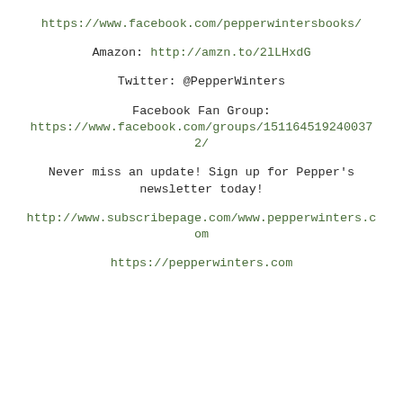https://www.facebook.com/pepperwintersbooks/
Amazon: http://amzn.to/2lLHxdG
Twitter: @PepperWinters
Facebook Fan Group:
https://www.facebook.com/groups/1511645192400372/
Never miss an update! Sign up for Pepper's newsletter today!
http://www.subscribepage.com/www.pepperwinters.com
https://pepperwinters.com